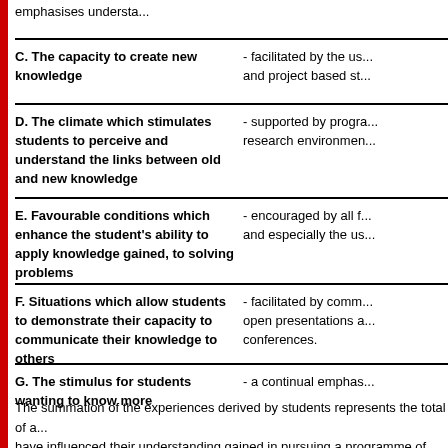emphasises understa...
| Concept | Description |
| --- | --- |
| C. The capacity to create new knowledge | - facilitated by the us... and project based st... |
| D. The climate which stimulates students to perceive and understand the links between old and new knowledge | - supported by progra... research environmen... |
| E. Favourable conditions which enhance the student's ability to apply knowledge gained, to solving problems | - encouraged by all f... and especially the us... |
| F. Situations which allow students to demonstrate their capacity to communicate their knowledge to others | - facilitated by comm... open presentations a... conferences. |
| G. The stimulus for students wanting to know more | - a continual emphas... |
The summation of the experiences derived by students represents the total of a... have influenced their understanding gained in pursuing a programme of study. ... then be designed which build upon the integrity of this transaction and acknow...